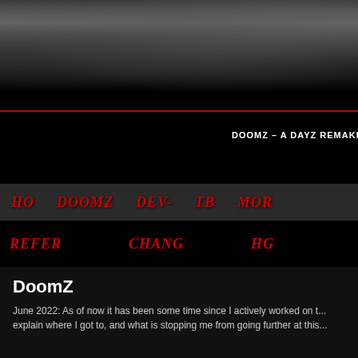[Figure (photo): Dark smoky textured banner header with grey tones and mist/smoke effect]
DOOMZ – A DAYZ REMAKE IN
[Figure (other): Dark navigation bar with red stylized menu items: HO, DOOMZ, DEV-, TB, MOR]
[Figure (other): Second navigation row with red stylized items: REFER, CHANG, HG]
DoomZ
June 2022: As of now it has been some time since I actively worked on t... explain where I got to, and what is stopping me from going further at this...